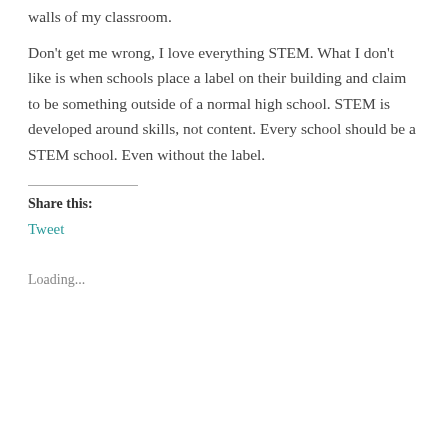walls of my classroom.
Don't get me wrong, I love everything STEM. What I don't like is when schools place a label on their building and claim to be something outside of a normal high school. STEM is developed around skills, not content. Every school should be a STEM school. Even without the label.
Share this:
Tweet
Loading...